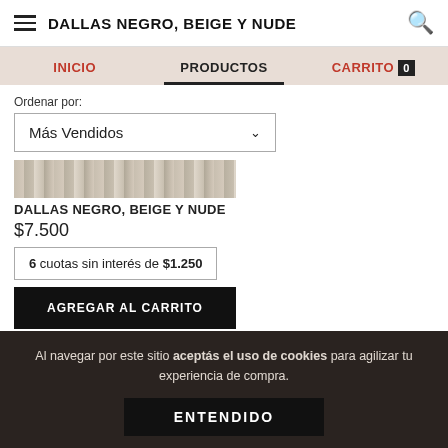DALLAS NEGRO, BEIGE Y NUDE
INICIO | PRODUCTOS | CARRITO 0
Ordenar por:
Más Vendidos
[Figure (photo): Product image strip showing fabric texture of Dallas Negro Beige y Nude]
DALLAS NEGRO, BEIGE Y NUDE
$7.500
6 cuotas sin interés de $1.250
AGREGAR AL CARRITO
Al navegar por este sitio aceptás el uso de cookies para agilizar tu experiencia de compra.
ENTENDIDO